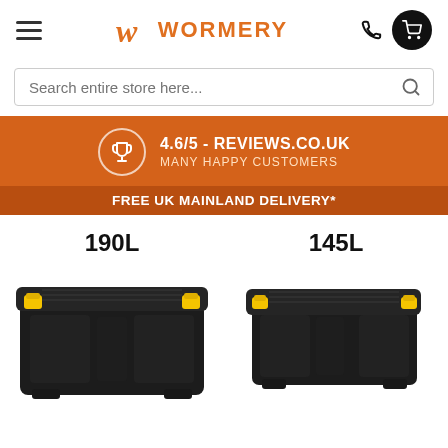[Figure (logo): Wormery logo with stylized W icon and text WORMERY in orange]
Search entire store here...
[Figure (infographic): Orange banner showing 4.6/5 - REVIEWS.CO.UK rating with trophy icon and MANY HAPPY CUSTOMERS subtitle, plus FREE UK MAINLAND DELIVERY* bar below]
190L
145L
[Figure (photo): Two large black plastic storage boxes with yellow latches. Left box labeled 190L, right box labeled 145L. Both have secure lids and handles.]